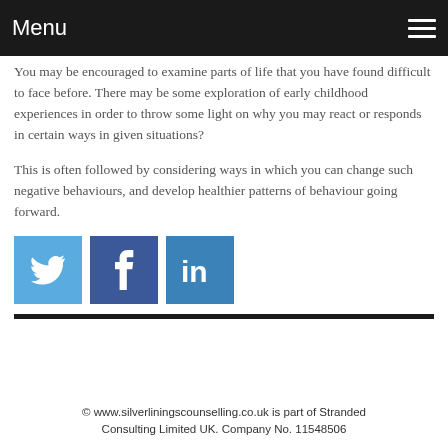Menu
You may be encouraged to examine parts of life that you have found difficult to face before. There may be some exploration of early childhood experiences in order to throw some light on why you may react or responds in certain ways in given situations?
This is often followed by considering ways in which you can change such negative behaviours, and develop healthier patterns of behaviour going forward.
[Figure (other): Three social media share buttons: Twitter (light blue), Facebook (dark blue), LinkedIn (medium blue)]
© www.silverliningscounselling.co.uk is part of Stranded Consulting Limited UK. Company No. 11548506